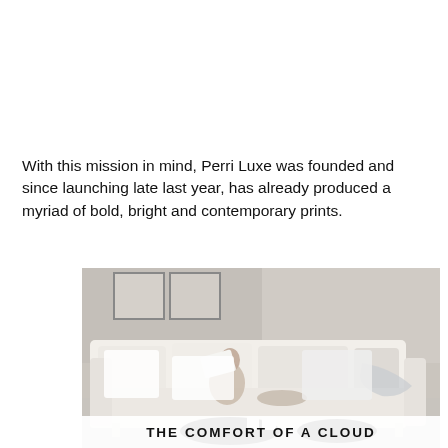With this mission in mind, Perri Luxe was founded and since launching late last year, has already produced a myriad of bold, bright and contemporary prints.
[Figure (photo): A woman relaxing on a large white cloud-like sofa reading a book, surrounded by white pillows and a light throw blanket, with a dark round coffee table in front, set in a room with concrete walls and framed artwork]
THE COMFORT OF A CLOUD